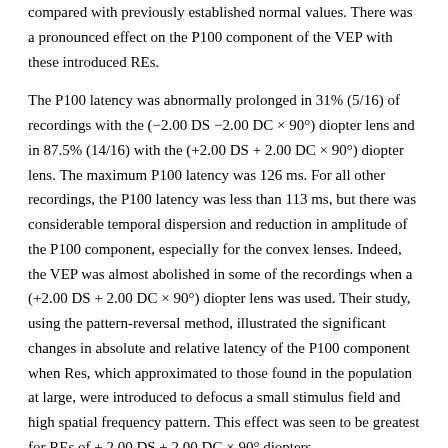compared with previously established normal values. There was a pronounced effect on the P100 component of the VEP with these introduced REs.
The P100 latency was abnormally prolonged in 31% (5/16) of recordings with the (−2.00 DS −2.00 DC × 90°) diopter lens and in 87.5% (14/16) with the (+2.00 DS + 2.00 DC × 90°) diopter lens. The maximum P100 latency was 126 ms. For all other recordings, the P100 latency was less than 113 ms, but there was considerable temporal dispersion and reduction in amplitude of the P100 component, especially for the convex lenses. Indeed, the VEP was almost abolished in some of the recordings when a (+2.00 DS + 2.00 DC × 90°) diopter lens was used. Their study, using the pattern-reversal method, illustrated the significant changes in absolute and relative latency of the P100 component when Res, which approximated to those found in the population at large, were introduced to defocus a small stimulus field and high spatial frequency pattern. This effect was seen to be greatest for REs of + 2.00 DS + 2.00 DC × 90° diopters.
Pattern defocusing has been used to evaluate the contribution of different spatial frequency components in checks to VEP latency. Latency shifts with increasing blur (−2.50 to +2.50) were determined [9] for sinusoidal grating and check